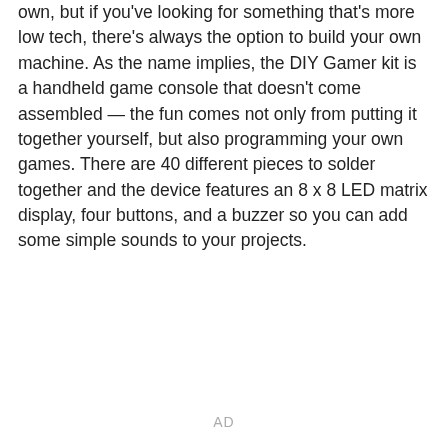own, but if you've looking for something that's more low tech, there's always the option to build your own machine. As the name implies, the DIY Gamer kit is a handheld game console that doesn't come assembled — the fun comes not only from putting it together yourself, but also programming your own games. There are 40 different pieces to solder together and the device features an 8 x 8 LED matrix display, four buttons, and a buzzer so you can add some simple sounds to your projects.
AD